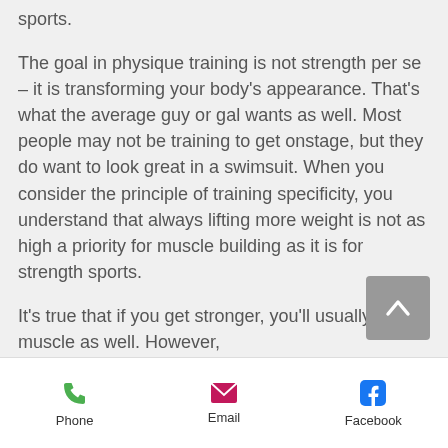sports.
The goal in physique training is not strength per se – it is transforming your body's appearance. That's what the average guy or gal wants as well. Most people may not be training to get onstage, but they do want to look great in a swimsuit. When you consider the principle of training specificity, you understand that always lifting more weight is not as high a priority for muscle building as it is for strength sports.
It's true that if you get stronger, you'll usually gain muscle as well. However,
Phone   Email   Facebook